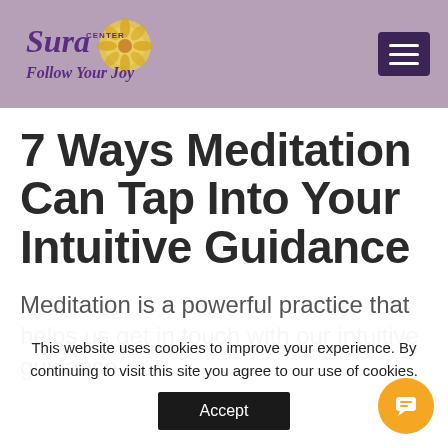Sura Center — Follow Your Joy
7 Ways Meditation Can Tap Into Your Intuitive Guidance
Meditation is a powerful practice that helps us get in touch with our intuitive guidance
This website uses cookies to improve your experience. By continuing to visit this site you agree to our use of cookies.
Accept